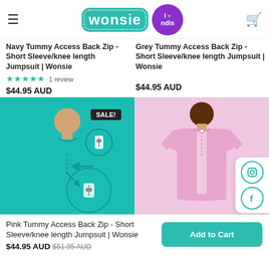Wonsie | I love ndis
Navy Tummy Access Back Zip - Short Sleeve/knee length Jumpsuit | Wonsie
★★★★★ 1 review
$44.95 AUD
Grey Tummy Access Back Zip - Short Sleeve/knee length Jumpsuit | Wonsie
$44.95 AUD
[Figure (photo): Teal/turquoise jumpsuit product image with SALE badge, showing front with tummy zip detail and a zoomed inset circle showing the zip area]
[Figure (photo): Pink jumpsuit product image showing back view of child wearing pink short sleeve knee length jumpsuit]
Pink Tummy Access Back Zip - Short Sleeve/knee length Jumpsuit | Wonsie
$44.95 AUD  $61.95 AUD